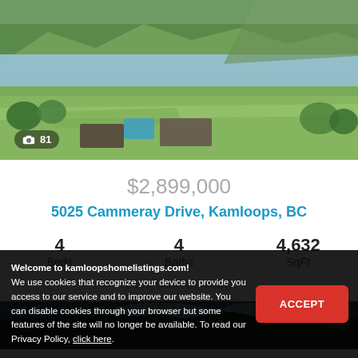[Figure (photo): Aerial drone photo of a large property with a river/lake in the background, green fields, a swimming pool, and buildings visible from above.]
$2,899,000
5025 Cammeray Drive, Kamloops, BC
4 Beds   4 Baths   4,632 SqFt
Listing Office: Exp Realty
[Figure (photo): Partial view of a second property listing photo showing trees and dark sky.]
Welcome to kamloopshomelistings.com!
We use cookies that recognize your device to provide you access to our service and to improve our website. You can disable cookies through your browser but some features of the site will no longer be available. To read our Privacy Policy, click here.